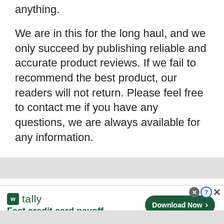anything.
We are in this for the long haul, and we only succeed by publishing reliable and accurate product reviews. If we fail to recommend the best product, our readers will not return. Please feel free to contact me if you have any questions, we are always available for any information.
Leave a Comment
[Figure (infographic): Advertisement banner for Tally app: logo with 'W' icon, brand name 'tally', tagline 'Fast credit card payoff', and a green 'Download Now' button with arrow. Close icons (X circle, question mark circle, X) are visible in the top right.]